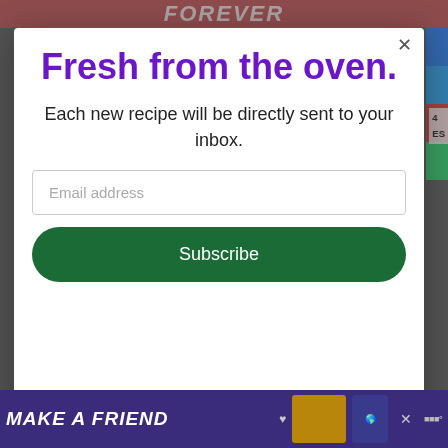[Figure (screenshot): Website modal popup with newsletter signup. Title 'Fresh from the oven.' in purple bold text. Body text 'Each new recipe will be directly sent to your inbox.' Email address input field. Green subscribe button. Background shows partial website with red banner reading 'FOREVER' and bottom ad bar 'MAKE A FRIEND'.]
Fresh from the oven.
Each new recipe will be directly sent to your inbox.
Email address
Subscribe